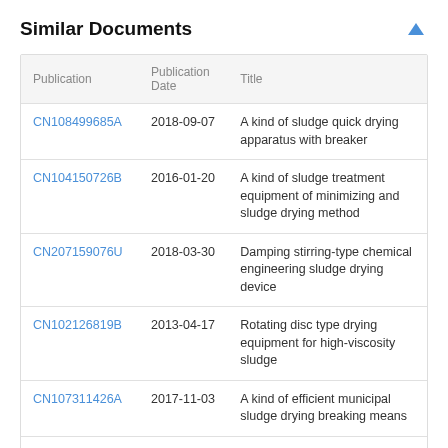Similar Documents
| Publication | Publication Date | Title |
| --- | --- | --- |
| CN108499685A | 2018-09-07 | A kind of sludge quick drying apparatus with breaker |
| CN104150726B | 2016-01-20 | A kind of sludge treatment equipment of minimizing and sludge drying method |
| CN207159076U | 2018-03-30 | Damping stirring-type chemical engineering sludge drying device |
| CN102126819B | 2013-04-17 | Rotating disc type drying equipment for high-viscosity sludge |
| CN107311426A | 2017-11-03 | A kind of efficient municipal sludge drying breaking means |